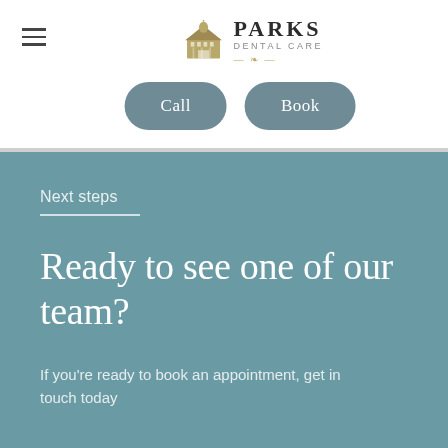[Figure (logo): Parks Dental Care logo with building icon and ornamental divider]
Call
Book
Next steps
Ready to see one of our team?
If you're ready to book an appointment, get in touch today